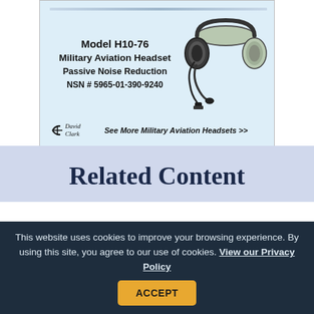[Figure (advertisement): David Clark Model H10-76 Military Aviation Headset advertisement showing headset image with text 'Model H10-76 Military Aviation Headset Passive Noise Reduction NSN # 5965-01-390-9240' and David Clark logo with 'See More Military Aviation Headsets >>']
Related Content
[Figure (photo): Two side-by-side photos: left shows circuit board or wiring with gold/yellow cables, right shows dark electronic equipment rack]
This website uses cookies to improve your browsing experience. By using this site, you agree to our use of cookies. View our Privacy Policy